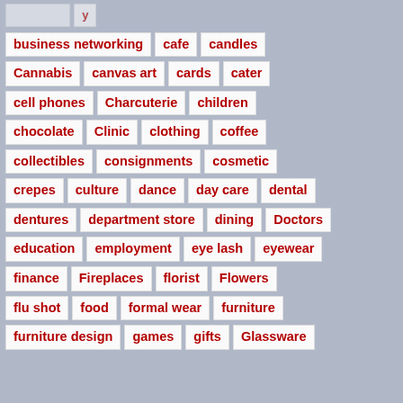business networking
cafe
candles
Cannabis
canvas art
cards
cater
cell phones
Charcuterie
children
chocolate
Clinic
clothing
coffee
collectibles
consignments
cosmetic
crepes
culture
dance
day care
dental
dentures
department store
dining
Doctors
education
employment
eye lash
eyewear
finance
Fireplaces
florist
Flowers
flu shot
food
formal wear
furniture
furniture design
games
gifts
Glassware